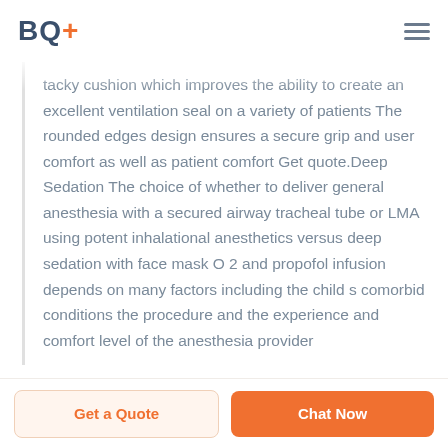BQ+
tacky cushion which improves the ability to create an excellent ventilation seal on a variety of patients The rounded edges design ensures a secure grip and user comfort as well as patient comfort Get quote.Deep Sedation The choice of whether to deliver general anesthesia with a secured airway tracheal tube or LMA using potent inhalational anesthetics versus deep sedation with face mask O 2 and propofol infusion depends on many factors including the child s comorbid conditions the procedure and the experience and comfort level of the anesthesia provider
Get a Quote   Chat Now